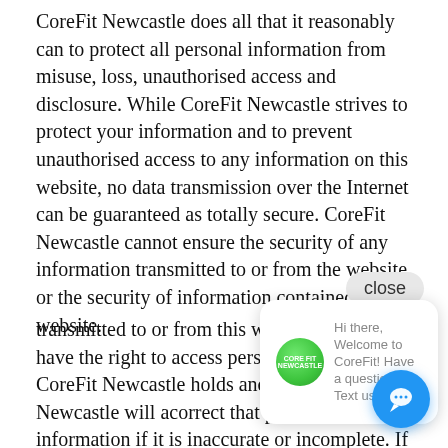CoreFit Newcastle does all that it reasonably can to protect all personal information from misuse, loss, unauthorised access and disclosure. While CoreFit Newcastle strives to protect your information and to prevent unauthorised access to any information on this website, no data transmission over the Internet can be guaranteed as totally secure. CoreFit Newcastle cannot ensure the security of any information transmitted to or from the website or the security of information contained on the website.
CoreFit Newcastle will not be responsible for any loss, damage, claim or expense suffered by any person or company where such loss or damage is referable to any use of or reliance on personal information on this website, or information transmitted to or from this website. Customers have the right to access personal information CoreFit Newcastle holds and CoreFit Newcastle will agree to correct that personal information if it is inaccurate or incomplete. If CoreFit Newcastle denies a request for